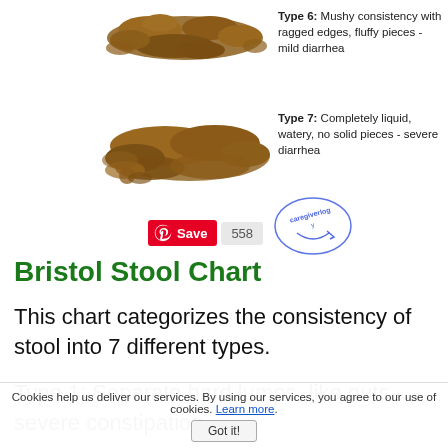[Figure (illustration): Type 6 stool illustration - mushy brown blob with ragged edges]
Type 6: Mushy consistency with ragged edges, fluffy pieces - mild diarrhea
[Figure (illustration): Type 7 stool illustration - liquid brown puddle]
Type 7: Completely liquid, watery, no solid pieces - severe diarrhea
[Figure (logo): Caregiverlogy watermark stamp in blue]
Bristol Stool Chart
This chart categorizes the consistency of stool into 7 different types.
Type 1: Separate hard lumps, like nuts - severe constipation
Cookies help us deliver our services. By using our services, you agree to our use of cookies. Learn more. Got it!